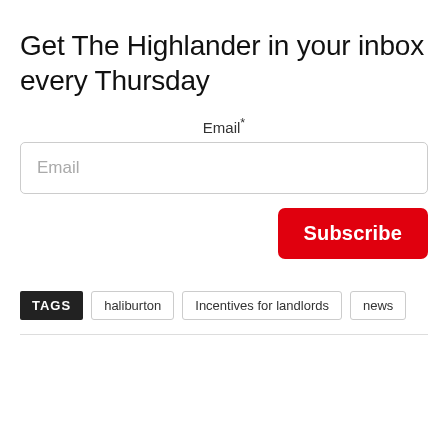Get The Highlander in your inbox every Thursday
Email*
Email
Subscribe
TAGS  haliburton  Incentives for landlords  news